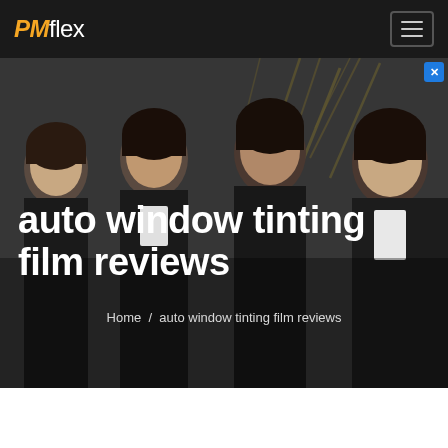PMflex
[Figure (photo): Dark overlay photo of four women in black professional attire standing together, background shows a decorative wall with branches]
auto window tinting film reviews
Home / auto window tinting film reviews